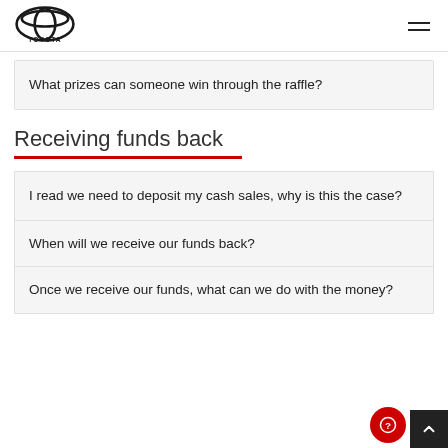Toyota logo and navigation
What prizes can someone win through the raffle?
Receiving funds back
I read we need to deposit my cash sales, why is this the case?
When will we receive our funds back?
Once we receive our funds, what can we do with the money?